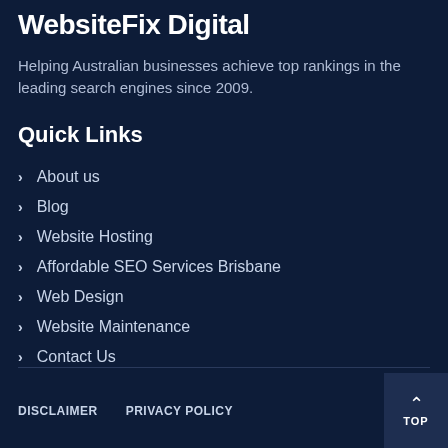WebsiteFix Digital
Helping Australian businesses achieve top rankings in the leading search engines since 2009.
Quick Links
About us
Blog
Website Hosting
Affordable SEO Services Brisbane
Web Design
Website Maintenance
Contact Us
DISCLAIMER   PRIVACY POLICY